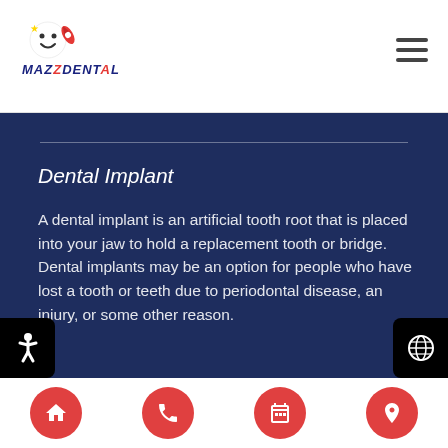[Figure (logo): Mazzdental logo with smiley face and rocket icon, colorful stylized text]
Dental Implant
A dental implant is an artificial tooth root that is placed into your jaw to hold a replacement tooth or bridge. Dental implants may be an option for people who have lost a tooth or teeth due to periodontal disease, an injury, or some other reason.
Dissolvable Stitches